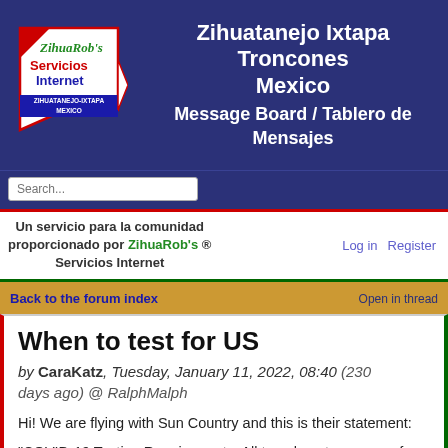[Figure (logo): ZihuaRob's Servicios Internet logo — red and white angular banner with green cursive text and blue block text, ZIHUATANEJO-IXTAPA MEXICO label]
Zihuatanejo Ixtapa Troncones Mexico Message Board / Tablero de Mensajes
Search...
Un servicio para la comunidad proporcionado por ZihuaRob's ® Servicios Internet
Log in   Register
Back to the forum index   Open in thread
When to test for US
by CaraKatz, Tuesday, January 11, 2022, 08:40 (230 days ago) @ RalphMalph
Hi! We are flying with Sun Country and this is their statement:
“COVID-19 Testing Requirements: All travelers, two years of age and older, must provide a negative